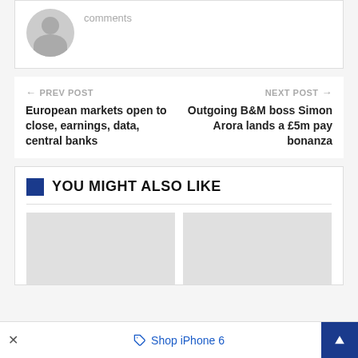[Figure (photo): Gray user avatar placeholder image (circle head and shoulders silhouette)]
comments
← PREV POST
European markets open to close, earnings, data, central banks
NEXT POST →
Outgoing B&M boss Simon Arora lands a £5m pay bonanza
YOU MIGHT ALSO LIKE
[Figure (photo): Gray placeholder thumbnail image (left)]
[Figure (photo): Gray placeholder thumbnail image (right)]
× Shop iPhone 6 ↑